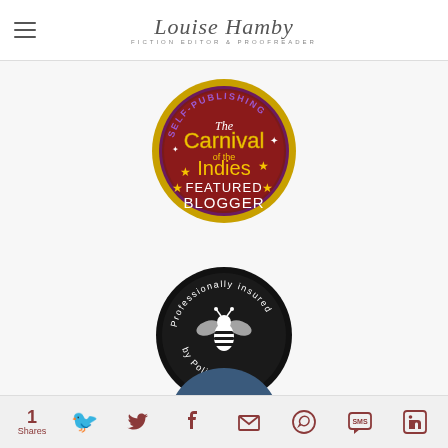Louise Hamby – Fiction Editor & Proofreader
[Figure (logo): Self-Publishing Carnival of the Indies Featured Blogger badge – circular colourful badge with gold border]
[Figure (logo): Professionally insured by PolicyBee – black circular badge with bee icon]
[Figure (photo): Partial view of a blue circular image at the bottom of the page]
1 Shares – social share icons: Twitter, Facebook, Email, WhatsApp, SMS, LinkedIn